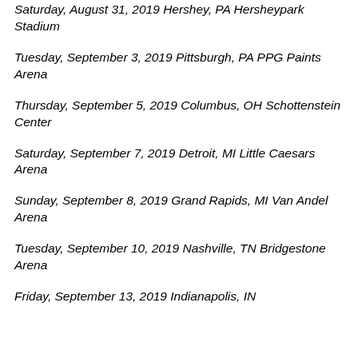Saturday, August 31, 2019 Hershey, PA Hersheypark Stadium
Tuesday, September 3, 2019 Pittsburgh, PA PPG Paints Arena
Thursday, September 5, 2019 Columbus, OH Schottenstein Center
Saturday, September 7, 2019 Detroit, MI Little Caesars Arena
Sunday, September 8, 2019 Grand Rapids, MI Van Andel Arena
Tuesday, September 10, 2019 Nashville, TN Bridgestone Arena
Friday, September 13, 2019 Indianapolis, IN